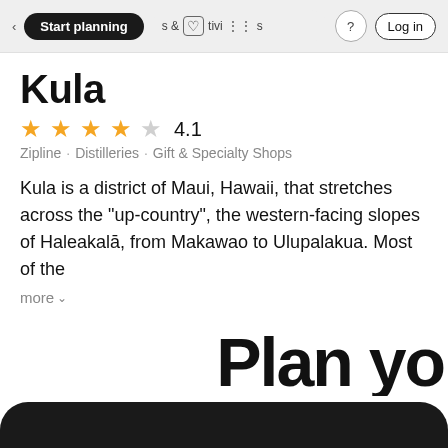Start planning · Activities · (?) · Log in
Kula
4.1  ★★★★☆
Zipline · Distilleries · Gift & Specialty Shops
Kula is a district of Maui, Hawaii, that stretches across the "up-country", the western-facing slopes of Haleakalā, from Makawao to Ulupalakua. Most of the
more ˅
Plan yo